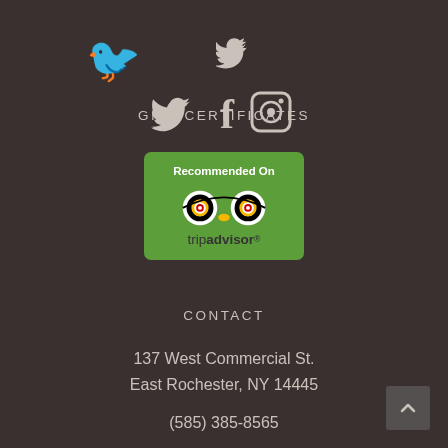[Figure (illustration): Social media icons: Twitter bird, Facebook f, Instagram camera, displayed in a row centered at top]
GIFT CERTIFICATES
[Figure (logo): TripAdvisor 'Recommended On' badge with green background, owl logo, and tripadvisor text]
CONTACT
137 West Commercial St.
East Rochester, NY 14445
(585) 385-8565